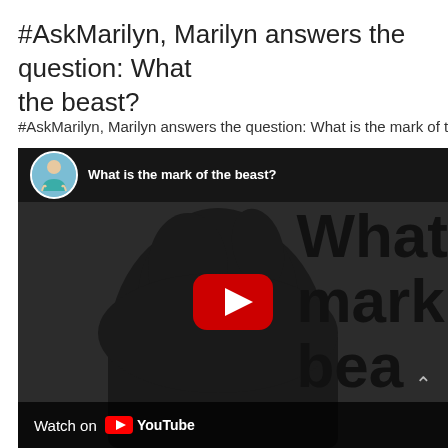#AskMarilyn, Marilyn answers the question: What is the mark of the beast?
#AskMarilyn, Marilyn answers the question: What is the mark of the beast?
[Figure (screenshot): YouTube video embed showing a dark silhouette of a dog/beast with text overlay 'What mark bea' (truncated 'What is the mark of the beast?'), a YouTube play button in the center, an avatar of a woman in teal top in the top-left corner, channel title 'What is the mark of the beast?' in the top bar, and a 'Watch on YouTube' bar at the bottom.]